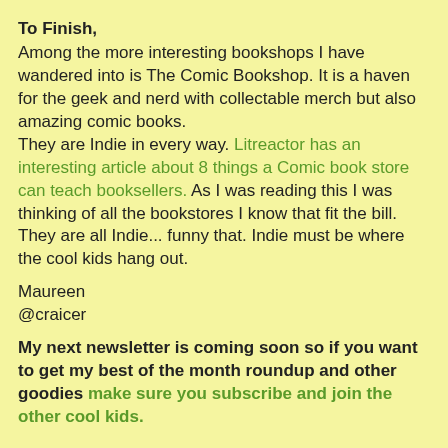To Finish,
Among the more interesting bookshops I have wandered into is The Comic Bookshop. It is a haven for the geek and nerd with collectable merch but also amazing comic books.
They are Indie in every way. Litreactor has an interesting article about 8 things a Comic book store can teach booksellers. As I was reading this I was thinking of all the bookstores I know that fit the bill. They are all Indie... funny that. Indie must be where the cool kids hang out.
Maureen
@craicer
My next newsletter is coming soon so if you want to get my best of the month roundup and other goodies make sure you subscribe and join the other cool kids.